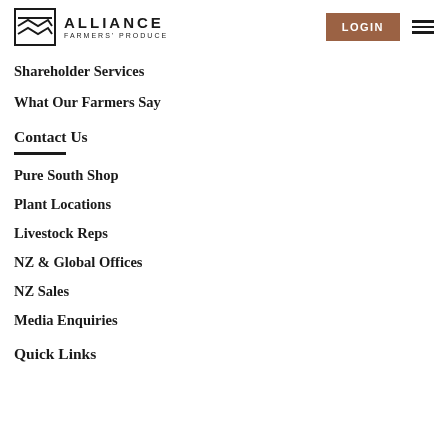[Figure (logo): Alliance Farmers' Produce logo with geometric icon and text]
Shareholder Services
What Our Farmers Say
Contact Us
Pure South Shop
Plant Locations
Livestock Reps
NZ & Global Offices
NZ Sales
Media Enquiries
Quick Links